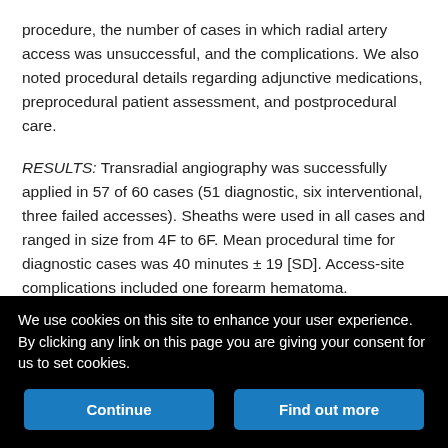procedure, the number of cases in which radial artery access was unsuccessful, and the complications. We also noted procedural details regarding adjunctive medications, preprocedural patient assessment, and postprocedural care.
RESULTS: Transradial angiography was successfully applied in 57 of 60 cases (51 diagnostic, six interventional, three failed accesses). Sheaths were used in all cases and ranged in size from 4F to 6F. Mean procedural time for diagnostic cases was 40 minutes ± 19 [SD]. Access-site complications included one forearm hematoma.
CONCLUSION: Transradial angiography is a useful tool for diagnostic and interventional neuroangiographic procedures. All relevant vessels can be accessed from the radial artery for
We use cookies on this site to enhance your user experience. By clicking any link on this page you are giving your consent for us to set cookies.